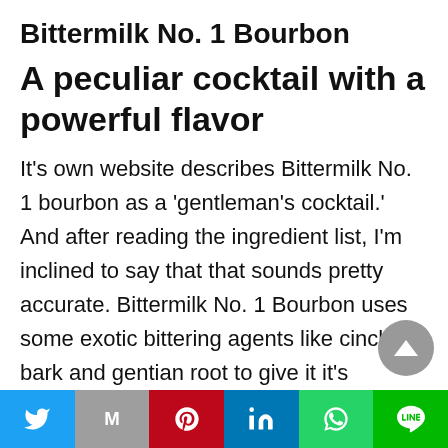Bittermilk No. 1 Bourbon
A peculiar cocktail with a powerful flavor
It's own website describes Bittermilk No. 1 bourbon as a 'gentleman's cocktail.' And after reading the ingredient list, I'm inclined to say that that sounds pretty accurate. Bittermilk No. 1 Bourbon uses some exotic bittering agents like cinchona bark and gentian root to give it it's signature flavor. This product is meant to be stirred into a glass of rye whiskey, to enhance the flavor. So
Social share bar: Twitter, Gmail, Pinterest, LinkedIn, WhatsApp, Line